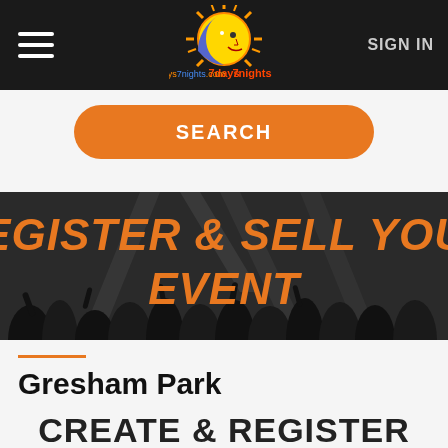7days7nights.com — SIGN IN
[Figure (screenshot): Orange rounded SEARCH button on light grey background]
[Figure (photo): Black and white photo of a crowd at an event with orange text overlay reading REGISTER & SELL YOUR EVENT]
Gresham Park
CREATE & REGISTER